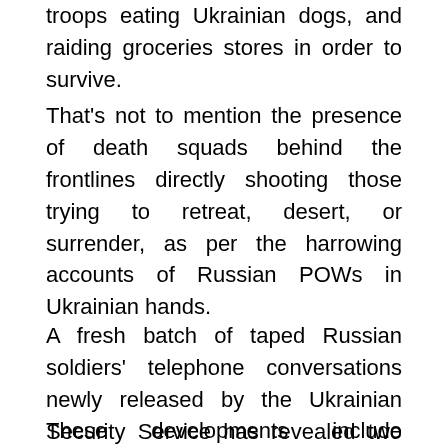troops eating Ukrainian dogs, and raiding groceries stores in order to survive.
That's not to mention the presence of death squads behind the frontlines directly shooting those trying to retreat, desert, or surrender, as per the harrowing accounts of Russian POWs in Ukrainian hands.
A fresh batch of taped Russian soldiers' telephone conversations newly released by the Ukrainian Security Service has revealed two further shocking developments.
These developments include servicemen trying